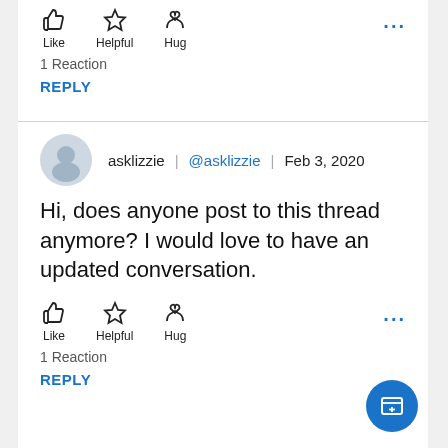[Figure (infographic): Like, Helpful, Hug reaction icons with labels and more options dots]
1 Reaction
REPLY
asklizzie | @asklizzie | Feb 3, 2020
Hi, does anyone post to this thread anymore? I would love to have an updated conversation.
[Figure (infographic): Like, Helpful, Hug reaction icons with labels and more options dots]
1 Reaction
REPLY